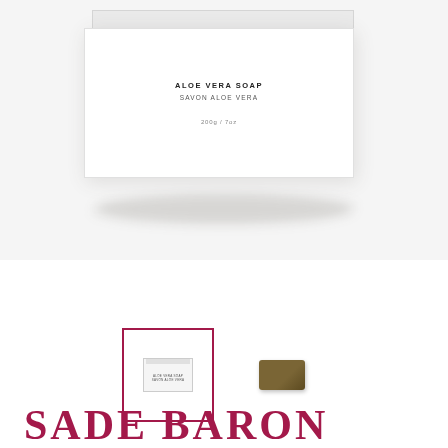[Figure (photo): White rectangular soap box with lid shadow. Text on box reads 'ALOE VERA SOAP' and 'SAVON ALOE VERA' with weight '200g / 7oz'. Box casts shadow on light grey background.]
[Figure (photo): Two product thumbnails: first (selected, highlighted with pink/crimson border) shows the white boxed aloe vera soap; second shows an unwrapped dark brown/olive bar of soap on white background.]
SADE BARON